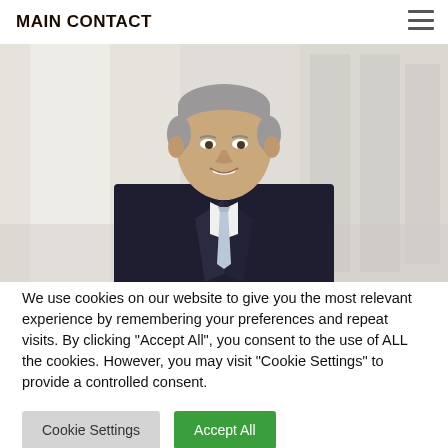MAIN CONTACT
[Figure (photo): Professional headshot of a middle-aged man with gray hair wearing a dark suit and light blue tie, photographed in a bright office setting with blurred windows in the background.]
We use cookies on our website to give you the most relevant experience by remembering your preferences and repeat visits. By clicking "Accept All", you consent to the use of ALL the cookies. However, you may visit "Cookie Settings" to provide a controlled consent.
Cookie Settings   Accept All